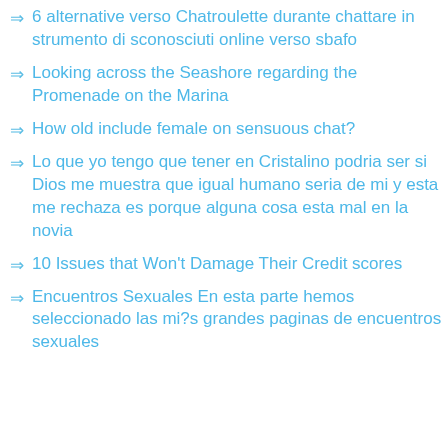6 alternative verso Chatroulette durante chattare in strumento di sconosciuti online verso sbafo
Looking across the Seashore regarding the Promenade on the Marina
How old include female on sensuous chat?
Lo que yo tengo que tener en Cristalino podria ser si Dios me muestra que igual humano seria de mi y esta me rechaza es porque alguna cosa esta mal en la novia
10 Issues that Won't Damage Their Credit scores
Encuentros Sexuales En esta parte hemos seleccionado las mi?s grandes paginas de encuentros sexuales